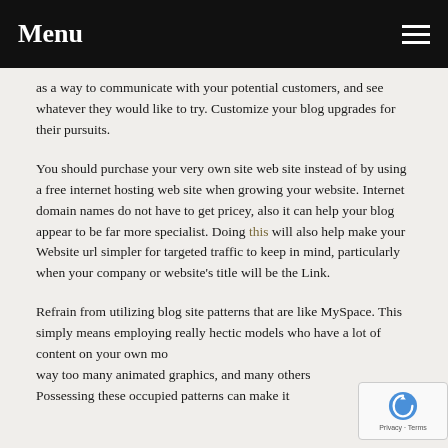Menu
as a way to communicate with your potential customers, and see whatever they would like to try. Customize your blog upgrades for their pursuits.
You should purchase your very own site web site instead of by using a free internet hosting web site when growing your website. Internet domain names do not have to get pricey, also it can help your blog appear to be far more specialist. Doing this will also help make your Website url simpler for targeted traffic to keep in mind, particularly when your company or website's title will be the Link.
Refrain from utilizing blog site patterns that are like MySpace. This simply means employing really hectic models who have a lot of content on your own mo... way too many animated graphics, and many others... Possessing these occupied patterns can make it